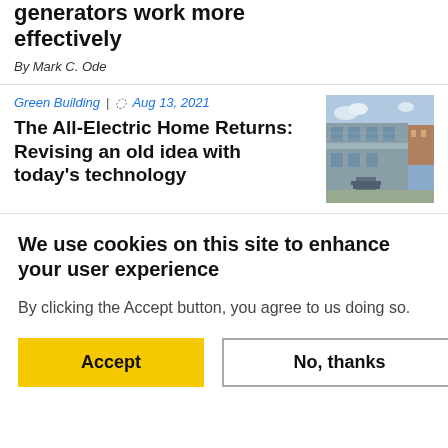generators work more effectively
By Mark C. Ode
Green Building | Aug 13, 2021
The All-Electric Home Returns: Revising an old idea with today's technology
[Figure (photo): Exterior photo of a modern all-electric multi-story home under construction with wood and fiber cement siding]
We use cookies on this site to enhance your user experience
By clicking the Accept button, you agree to us doing so.
Accept
No, thanks